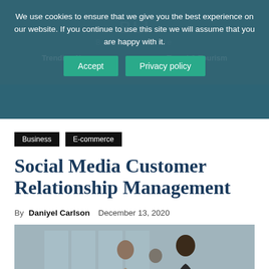Business Inside — Trending News | Travel & Tourism
We use cookies to ensure that we give you the best experience on our website. If you continue to use this site we will assume that you are happy with it.
Accept
Privacy policy
Business
E-commerce
Social Media Customer Relationship Management
By Daniyel Carlson  December 13, 2020
[Figure (photo): Business people shaking hands, two men and a woman in a modern office with large windows, blurred background]